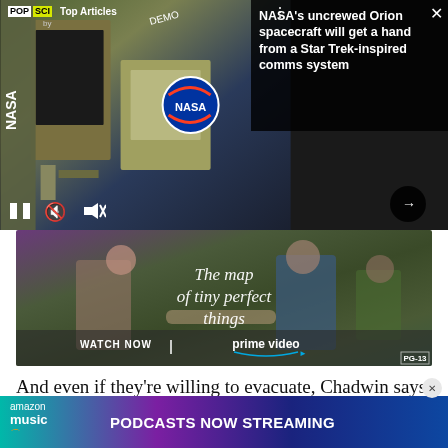[Figure (screenshot): Video player showing NASA Orion spacecraft content with POP SCI Top Articles branding, pause and mute controls, and a next arrow button. Right portion has a dark overlay with headline text.]
NASA's uncrewed Orion spacecraft will get a hand from a Star Trek-inspired comms system
[Figure (photo): Amazon Prime Video advertisement for 'The Map of Tiny Perfect Things' showing two people walking, with 'WATCH NOW | prime video' text and PG-13 rating.]
And even if they're willing to evacuate, Chadwin says, people often return before it's safe to do so in order to
rescue
cites
is whe
ue
[Figure (screenshot): Amazon Music banner advertisement: 'amazon music PODCASTS NOW STREAMING' on a purple-blue gradient background with a close X button.]